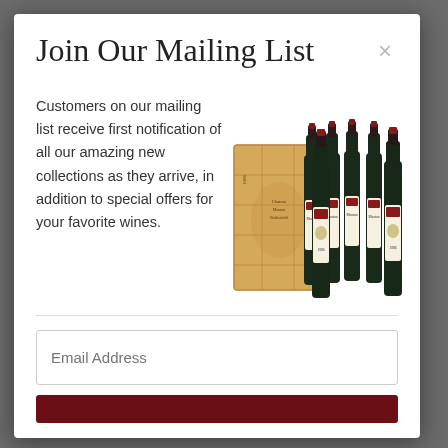Join Our Mailing List
Customers on our mailing list receive first notification of all our amazing new collections as they arrive, in addition to special offers for your favorite wines.
[Figure (illustration): A wooden wine crate with multiple bottles of red wine (Chateau Mouton Rothschild 1986) leaning against it, displayed as a product image.]
Email Address